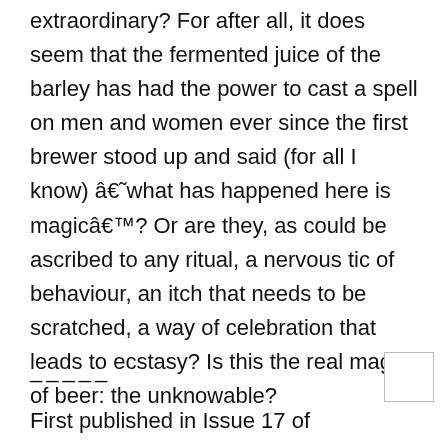extraordinary? For after all, it does seem that the fermented juice of the barley has had the power to cast a spell on men and women ever since the first brewer stood up and said (for all I know) â€˜what has happened here is magicâ€™? Or are they, as could be ascribed to any ritual, a nervous tic of behaviour, an itch that needs to be scratched, a way of celebration that leads to ecstasy? Is this the real magic of beer: the unknowable?
_____
First published in Issue 17 of